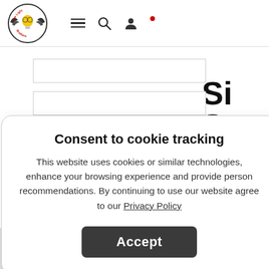[Figure (logo): The Light Brothers logo — circular badge with wings and a lightbulb, text 'The Light Brothers' around the circle]
[Figure (screenshot): Website navigation bar with hamburger menu, search icon, and user account icon]
Consent to cookie tracking
This website uses cookies or similar technologies, enhance your browsing experience and provide person recommendations. By continuing to use our website agree to our Privacy Policy
Accept